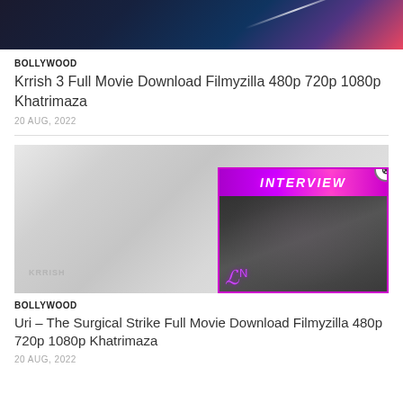[Figure (photo): Dark cinematic movie banner image with purple/blue space-like background and light streaks]
BOLLYWOOD
Krrish 3 Full Movie Download Filmyzilla 480p 720p 1080p Khatrimaza
20 AUG, 2022
[Figure (photo): Grayscale movie thumbnail image for Bollywood film with watermark text THE BEAUTIFUL HEART, overlaid with a popup video player showing INTERVIEW title in neon pink/purple text with LN logo]
BOLLYWOOD
Uri – The Surgical Strike Full Movie Download Filmyzilla 480p 720p 1080p Khatrimaza
20 AUG, 2022